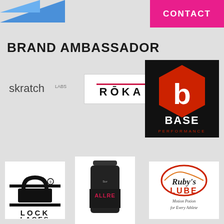[Figure (logo): Partial blue logo (running/athletics brand) at top left]
[Figure (logo): Pink CONTACT button at top right]
BRAND AMBASSADOR
[Figure (logo): Skratch Labs logo]
[Figure (logo): ROKA logo on white background]
[Figure (logo): BASE Performance logo on black background]
[Figure (logo): Lock Laces logo on white background]
[Figure (logo): Sur ALLRE supplement bottle on white background]
[Figure (logo): Ruby's Lube logo with tagline Motion Potion for Every Athlete]